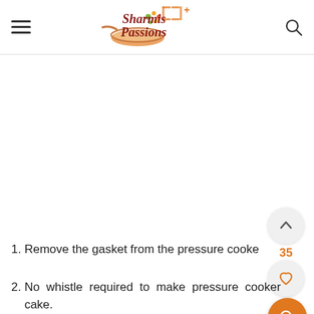Sharmis Passions
[Figure (logo): Sharmis Passions logo with a pan and vegetables illustration]
1. Remove the gasket from the pressure cooker
2. No whistle required to make pressure cooker cake.